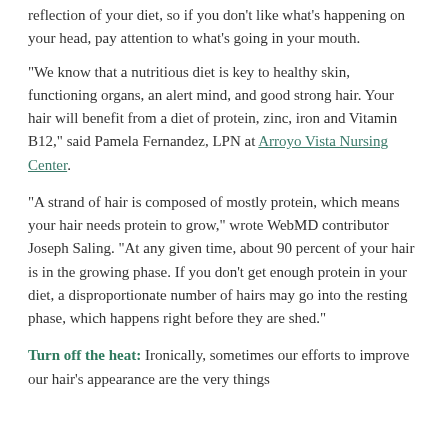reflection of your diet, so if you don't like what's happening on your head, pay attention to what's going in your mouth.
“We know that a nutritious diet is key to healthy skin, functioning organs, an alert mind, and good strong hair. Your hair will benefit from a diet of protein, zinc, iron and Vitamin B12,” said Pamela Fernandez, LPN at Arroyo Vista Nursing Center.
“A strand of hair is composed of mostly protein, which means your hair needs protein to grow,” wrote WebMD contributor Joseph Saling. “At any given time, about 90 percent of your hair is in the growing phase. If you don’t get enough protein in your diet, a disproportionate number of hairs may go into the resting phase, which happens right before they are shed.”
Turn off the heat: Ironically, sometimes our efforts to improve our hair’s appearance are the very things